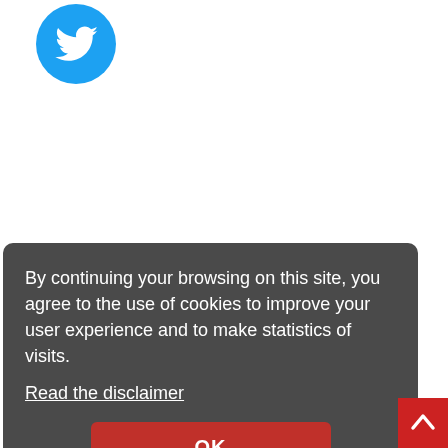[Figure (logo): Twitter bird logo in a blue circle]
By continuing your browsing on this site, you agree to the use of cookies to improve your user experience and to make statistics of visits. Read the disclaimer
OK